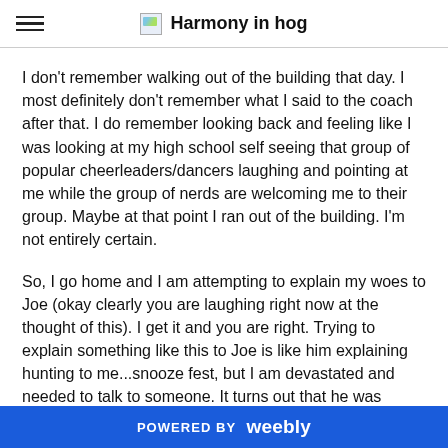Harmony in hog
I don't remember walking out of the building that day. I most definitely don't remember what I said to the coach after that. I do remember looking back and feeling like I was looking at my high school self seeing that group of popular cheerleaders/dancers laughing and pointing at me while the group of nerds are welcoming me to their group. Maybe at that point I ran out of the building. I'm not entirely certain.
So, I go home and I am attempting to explain my woes to Joe (okay clearly you are laughing right now at the thought of this). I get it and you are right. Trying to explain something like this to Joe is like him explaining hunting to me...snooze fest, but I am devastated and needed to talk to someone. It turns out that he was exactly who I needed
POWERED BY weebly